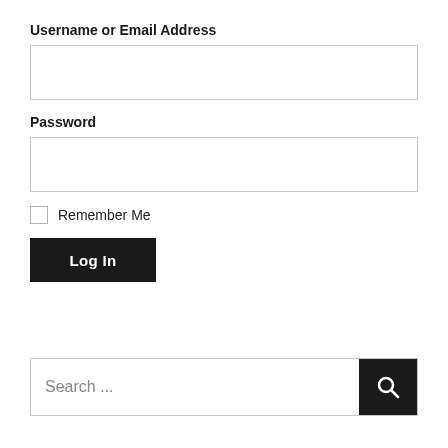Username or Email Address
[Figure (screenshot): Empty text input field for username or email address]
Password
[Figure (screenshot): Empty text input field for password]
Remember Me
[Figure (screenshot): Log In button, black background with white bold text]
[Figure (screenshot): Search bar with placeholder text 'Search ...' and a black search icon button on the right]